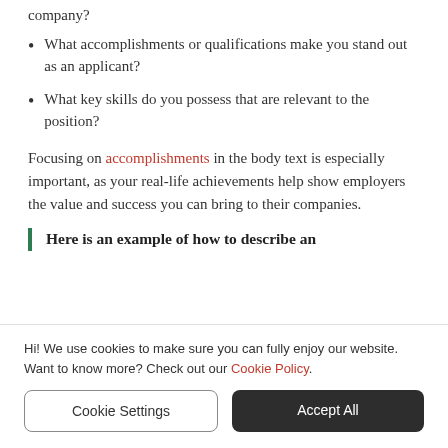What accomplishments or qualifications make you stand out as an applicant?
What key skills do you possess that are relevant to the position?
Focusing on accomplishments in the body text is especially important, as your real-life achievements help show employers the value and success you can bring to their companies.
Here is an example of how to describe an
Hi! We use cookies to make sure you can fully enjoy our website. Want to know more? Check out our Cookie Policy.